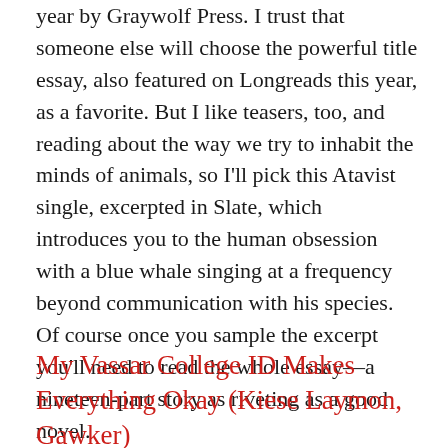year by Graywolf Press. I trust that someone else will choose the powerful title essay, also featured on Longreads this year, as a favorite. But I like teasers, too, and reading about the way we try to inhabit the minds of animals, so I'll pick this Atavist single, excerpted in Slate, which introduces you to the human obsession with a blue whale singing at a frequency beyond communication with his species. Of course once you sample the excerpt you'll need to read the whole essay—a nineteen-part story as riveting as a good novel.
My Vassar College ID Makes Everything Okay (Kiese Laymon, Gawker)